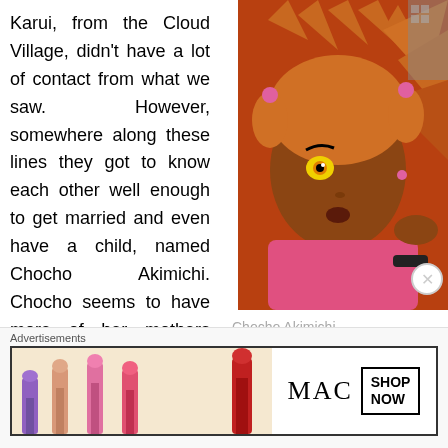Karui, from the Cloud Village, didn't have a lot of contact from what we saw. However, somewhere along these lines they got to know each other well enough to get married and even have a child, named Chocho Akimichi. Chocho seems to have more of her mothers side compared to Choii
[Figure (illustration): Anime illustration of Chocho Akimichi, a young girl with orange hair in pigtails, pink outfit, and distinctive yellow eyes, in a manga art style]
Chocho Akimichi
Advertisements
[Figure (photo): MAC cosmetics advertisement banner showing colorful lipsticks on the left, MAC logo in the center, and a SHOP NOW button on the right]